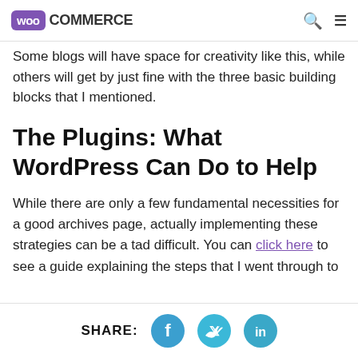WooCommerce
Some blogs will have space for creativity like this, while others will get by just fine with the three basic building blocks that I mentioned.
The Plugins: What WordPress Can Do to Help
While there are only a few fundamental necessities for a good archives page, actually implementing these strategies can be a tad difficult. You can click here to see a guide explaining the steps that I went through to
SHARE: